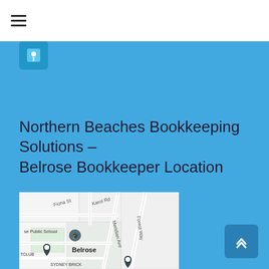≡ (navigation menu)
Northern Beaches Bookkeeping Solutions – Belrose Bookkeeper Location
[Figure (map): Google Maps view showing Belrose area with streets including Forest Way, Meridian Ave, Fiona St, Karol Rd. Shows Belrose Public School, TCLUB, and SYDNEY BRICK markers.]